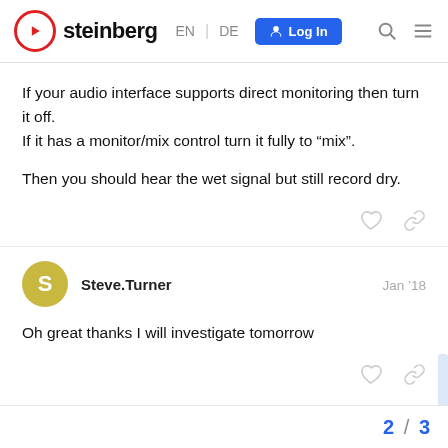steinberg EN DE Log In
If your audio interface supports direct monitoring then turn it off.
If it has a monitor/mix control turn it fully to “mix”.

Then you should hear the wet signal but still record dry.
Steve.Turner Jan ’18
Oh great thanks I will investigate tomorrow
2 / 3